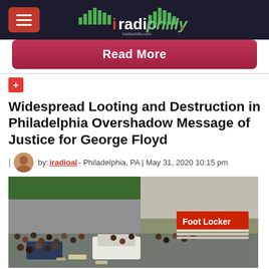iRadioPhilly - iradiophilly.com
Read More
Widespread Looting and Destruction in Philadelphia Overshadow Message of Justice for George Floyd
by: iradioal - Philadelphia, PA | May 31, 2020 10:15 pm
[Figure (photo): Aerial view of a crowd of people on a street outside a Foot Locker store during Philadelphia looting, May 2020]